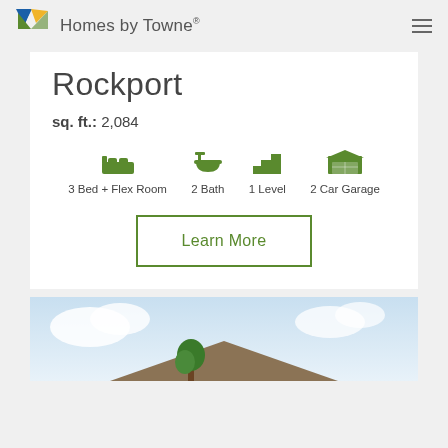Homes by Towne
Rockport
sq. ft.: 2,084
[Figure (infographic): Four icons in a row: bed (3 Bed + Flex Room), bath (2 Bath), stairs/level (1 Level), garage (2 Car Garage)]
Learn More
[Figure (illustration): Partial view of a house illustration with sky and roof visible at the bottom of the page]